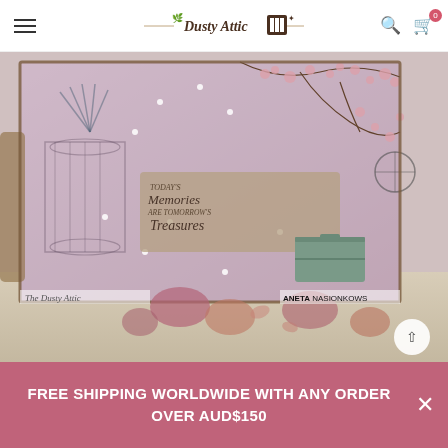Dusty Attic — navigation header with hamburger menu, logo, search and cart icons
[Figure (photo): Mixed media art canvas featuring cherry blossoms, birdcages, and a quote 'Today's Memories Are Tomorrow's Treasures' in shades of pink and purple, surrounded by dried roses on a burlap surface. Watermarks: 'The Dusty Attic' (left) and 'ANETA NASIONKOWS' (right).]
FREE SHIPPING WORLDWIDE WITH ANY ORDER OVER AUD$150